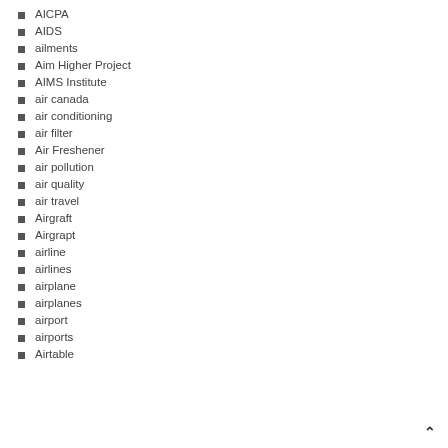AICPA
AIDS
ailments
Aim Higher Project
AIMS Institute
air canada
air conditioning
air filter
Air Freshener
air pollution
air quality
air travel
Airgraft
Airgrapt
airline
airlines
airplane
airplanes
airport
airports
Airtable